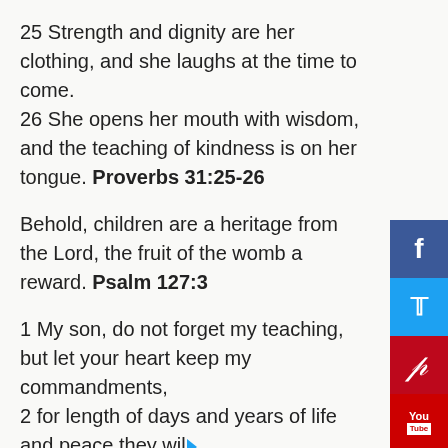25 Strength and dignity are her clothing, and she laughs at the time to come.
26 She opens her mouth with wisdom, and the teaching of kindness is on her tongue. Proverbs 31:25-26
Behold, children are a heritage from the Lord, the fruit of the womb a reward. Psalm 127:3
1 My son, do not forget my teaching, but let your heart keep my commandments,
2 for length of days and years of life and peace they will add to you.
3 Let not steadfast love and faithfulness forsake you; bind them around your neck; write them on the tablet of your heart.
4 So you will find favor and good success in the sight of God and man. Proverbs 3:1-4